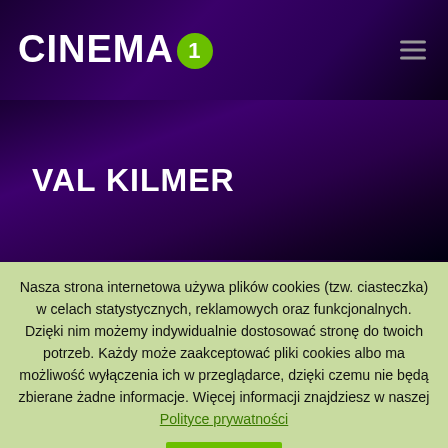CINEMA 1
VAL KILMER
Nasza strona internetowa używa plików cookies (tzw. ciasteczka) w celach statystycznych, reklamowych oraz funkcjonalnych. Dzięki nim możemy indywidualnie dostosować stronę do twoich potrzeb. Każdy może zaakceptować pliki cookies albo ma możliwość wyłączenia ich w przeglądarce, dzięki czemu nie będą zbierane żadne informacje. Więcej informacji znajdziesz w naszej Polityce prywatności
AKCEPTUJ